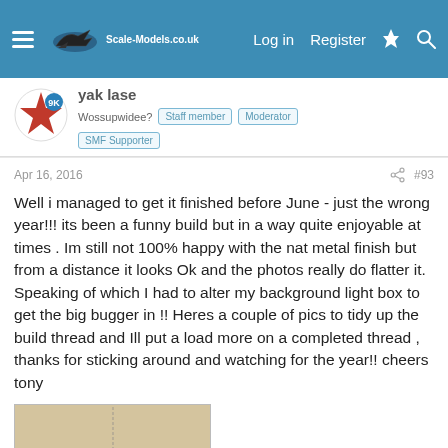Scale-Models.co.uk — Log in  Register
yak lase
Wossupwidee?  Staff member  Moderator  SMF Supporter
Apr 16, 2016  #93
Well i managed to get it finished before June - just the wrong year!!! its been a funny build but in a way quite enjoyable at times . Im still not 100% happy with the nat metal finish but from a distance it looks Ok and the photos really do flatter it. Speaking of which I had to alter my background light box to get the big bugger in !! Heres a couple of pics to tidy up the build thread and Ill put a load more on a completed thread , thanks for sticking around and watching for the year!! cheers tony
[Figure (photo): Scale model aircraft photo — silver jet fighter model suspended or positioned on a light tan/beige background]
[Figure (photo): Partial view of another scale model photo at the bottom of the page, brown/orange toned background]